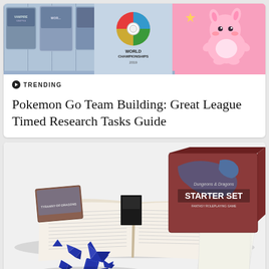[Figure (illustration): Pokemon World Championships banner with logo on left side showing a Pokeball-style circular emblem with 'World Championships' text, and a pink Clefairy-like Pokemon on the right side with pink background]
TRENDING
Pokemon Go Team Building: Great League Timed Research Tasks Guide
[Figure (photo): Dungeons & Dragons Starter Set box with contents displayed: open rulebooks, character sheets, blue polyhedral dice scattered in front, and a small booklet/cards]